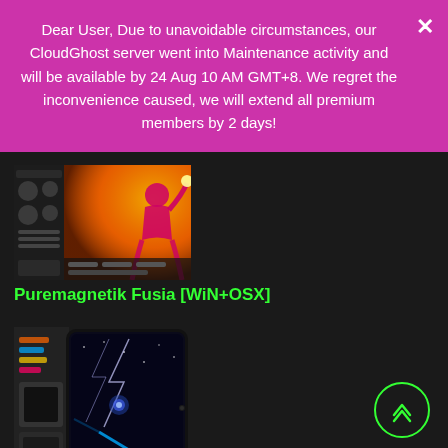Dear User, Due to unavoidable circumstances, our CloudGhost server went into Maintenance activity and will be available by 24 Aug 10 AM GMT+8. We regret the inconvenience caused, we will extend all premium members by 2 days!
[Figure (screenshot): Screenshot of Puremagnetik Fusia plugin - shows a music software interface with orange/red background and a female silhouette]
Puremagnetik Fusia [WiN+OSX]
[Figure (screenshot): Screenshot of Puremagnetik Klome plugin shown on a tablet/iPad device with lightning bolt blue comet imagery on dark background]
Puremagnetik Klome [WiN+OSX]